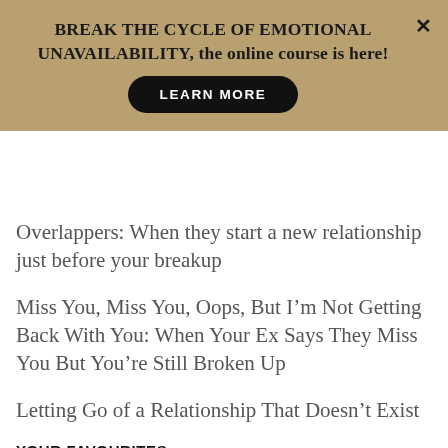[Figure (other): Banner ad with tan/gold background saying BREAK THE CYCLE OF EMOTIONAL UNAVAILABILITY, the online course is here! with a black LEARN MORE button and an X close button]
Overlappers: When they start a new relationship just before your breakup
Miss You, Miss You, Oops, But I'm Not Getting Back With You: When Your Ex Says They Miss You But You're Still Broken Up
Letting Go of a Relationship That Doesn't Exist
YOUR FAVOURITES
Your favorites will be here